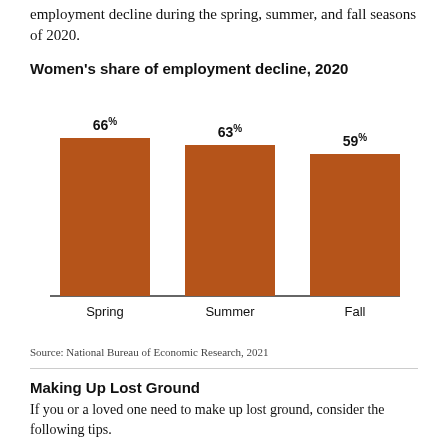employment decline during the spring, summer, and fall seasons of 2020.
[Figure (bar-chart): Women's share of employment decline, 2020]
Source: National Bureau of Economic Research, 2021
Making Up Lost Ground
If you or a loved one need to make up lost ground, consider the following tips.
1. Save as much as possible in tax-advantaged investment vehicles, such as employer-based retirement plans and IRAs. If your employer offers a match, be sure